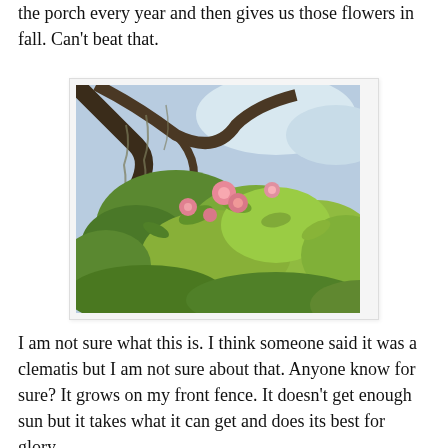the porch every year and then gives us those flowers in fall. Can't beat that.
[Figure (photo): Outdoor photo taken from below looking up through tree branches with Spanish moss, showing lush green foliage and pink flowers (possibly a climbing vine or shrub) against a bright sky.]
I am not sure what this is. I think someone said it was a clematis but I am not sure about that. Anyone know for sure? It grows on my front fence. It doesn't get enough sun but it takes what it can get and does its best for glory.
[Figure (photo): Close-up photo of a plant, partially visible at the bottom of the page.]